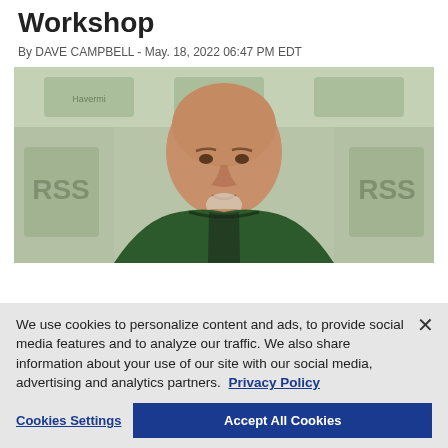Workshop
By DAVE CAMPBELL - May. 18, 2022 06:47 PM EDT
[Figure (photo): Man in green hoodie at press conference with branded backdrop]
We use cookies to personalize content and ads, to provide social media features and to analyze our traffic. We also share information about your use of our site with our social media, advertising and analytics partners.  Privacy Policy
Cookies Settings
Accept All Cookies